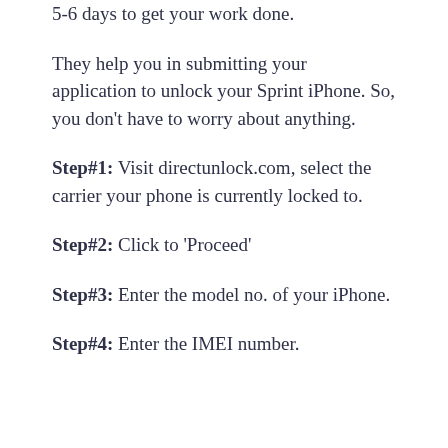5-6 days to get your work done.
They help you in submitting your application to unlock your Sprint iPhone. So, you don't have to worry about anything.
Step#1: Visit directunlock.com, select the carrier your phone is currently locked to.
Step#2: Click to 'Proceed'
Step#3: Enter the model no. of your iPhone.
Step#4: Enter the IMEI number.